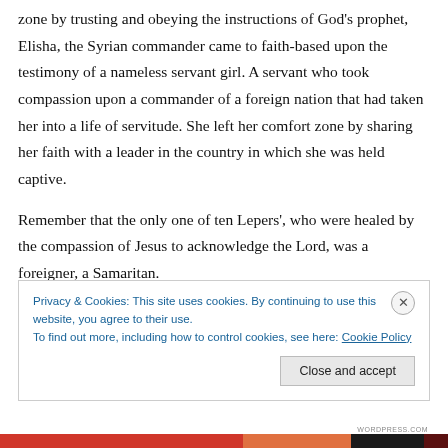zone by trusting and obeying the instructions of God's prophet, Elisha, the Syrian commander came to faith-based upon the testimony of a nameless servant girl. A servant who took compassion upon a commander of a foreign nation that had taken her into a life of servitude. She left her comfort zone by sharing her faith with a leader in the country in which she was held captive.
Remember that the only one of ten Lepers', who were healed by the compassion of Jesus to acknowledge the Lord, was a foreigner, a Samaritan.
Privacy & Cookies: This site uses cookies. By continuing to use this website, you agree to their use. To find out more, including how to control cookies, see here: Cookie Policy